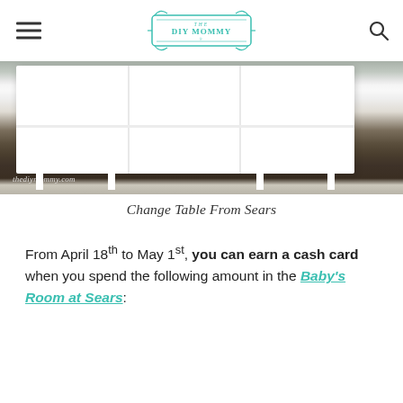THE DIY MOMMY
[Figure (photo): Photo of a white change table / shelving unit on a dark wood floor, with the watermark text 'thediymommy.com' in the lower left]
Change Table From Sears
From April 18th to May 1st, you can earn a cash card when you spend the following amount in the Baby's Room at Sears: